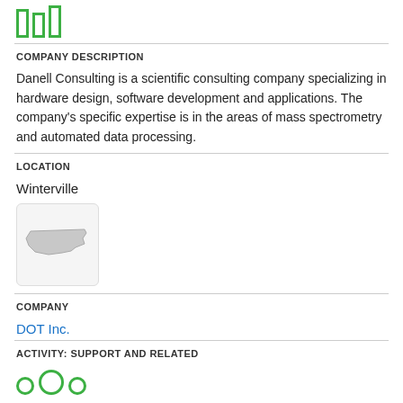[Figure (logo): Three green outlined vertical bars forming a bar-chart logo]
COMPANY DESCRIPTION
Danell Consulting is a scientific consulting company specializing in hardware design, software development and applications. The company's specific expertise is in the areas of mass spectrometry and automated data processing.
LOCATION
Winterville
[Figure (map): Small map thumbnail showing the outline of North Carolina state]
COMPANY
DOT Inc.
ACTIVITY: SUPPORT AND RELATED
[Figure (logo): Green outlined circle icons at the bottom]